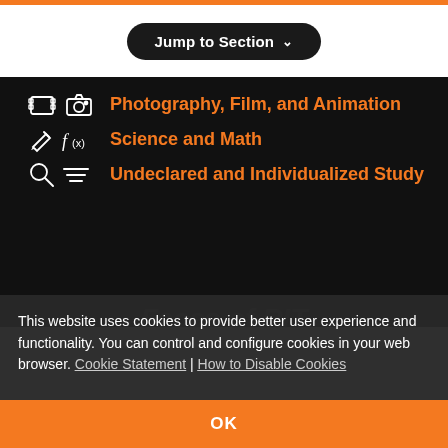Jump to Section
Photography, Film, and Animation
Science and Math
Undeclared and Individualized Study
This website uses cookies to provide better user experience and functionality. You can control and configure cookies in your web browser. Cookie Statement | How to Disable Cookies
OK